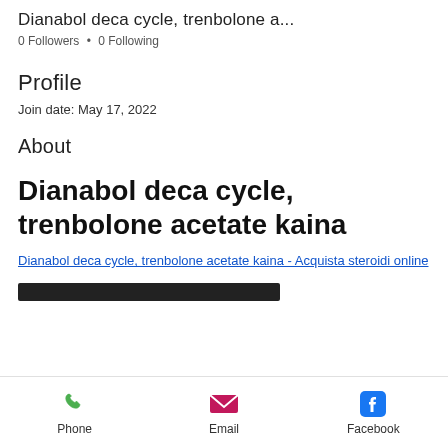Dianabol deca cycle, trenbolone a…
0 Followers • 0 Following
Profile
Join date: May 17, 2022
About
Dianabol deca cycle, trenbolone acetate kaina
Dianabol deca cycle, trenbolone acetate kaina - Acquista steroidi online
[Figure (other): Dark banner image, partially visible at bottom]
Phone  Email  Facebook